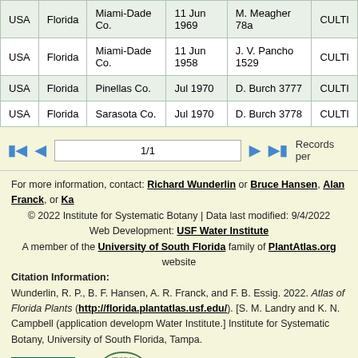| Country | State | County | Date | Collector | Status |
| --- | --- | --- | --- | --- | --- |
| USA | Florida | Miami-Dade Co. | 11 Jun 1969 | M. Meagher 78a | CULTI... |
| USA | Florida | Miami-Dade Co. | 11 Jun 1958 | J. V. Pancho 1529 | CULTI... |
| USA | Florida | Pinellas Co. | Jul 1970 | D. Burch 3777 | CULTI... |
| USA | Florida | Sarasota Co. | Jul 1970 | D. Burch 3778 | CULTI... |
1/1  Records per page
For more information, contact: Richard Wunderlin or Bruce Hansen, Alan Franck, or Ka...
© 2022 Institute for Systematic Botany | Data last modified: 9/4/2022
Web Development: USF Water Institute
A member of the University of South Florida family of PlantAtlas.org website...
Citation Information:
Wunderlin, R. P., B. F. Hansen, A. R. Franck, and F. B. Essig. 2022. Atlas of Florida Plants (http://florida.plantatlas.usf.edu/). [S. M. Landry and K. N. Campbell (application developm... Water Institute.] Institute for Systematic Botany, University of South Florida, Tampa.